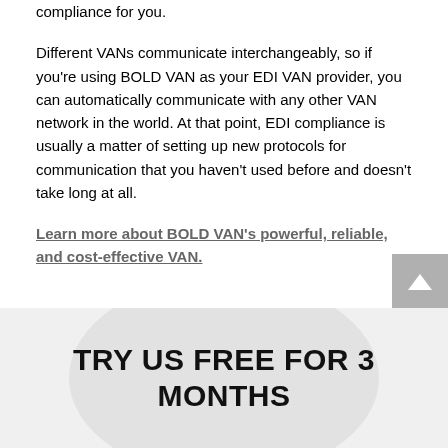compliance for you.
Different VANs communicate interchangeably, so if you're using BOLD VAN as your EDI VAN provider, you can automatically communicate with any other VAN network in the world. At that point, EDI compliance is usually a matter of setting up new protocols for communication that you haven't used before and doesn't take long at all.
Learn more about BOLD VAN's powerful, reliable, and cost-effective VAN.
TRY US FREE FOR 3 MONTHS